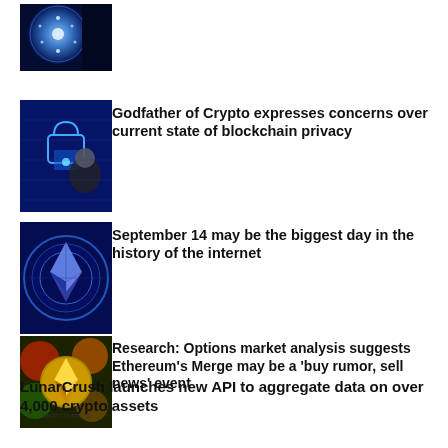[Figure (photo): Blue glowing sphere with dots on dark background]
[Figure (photo): Man with digital blockchain background in blue]
Godfather of Crypto expresses concerns over current state of blockchain privacy
[Figure (photo): Ethereum logo coin with blue technical diagram background]
September 14 may be the biggest day in the history of the internet
[Figure (photo): Ethereum golden coin on colourful background]
Research: Options market analysis suggests Ethereum’s Merge may be a ‘buy rumor, sell news’ event
LunarCrush launches new API to aggregate data on over 4,000 crypto assets